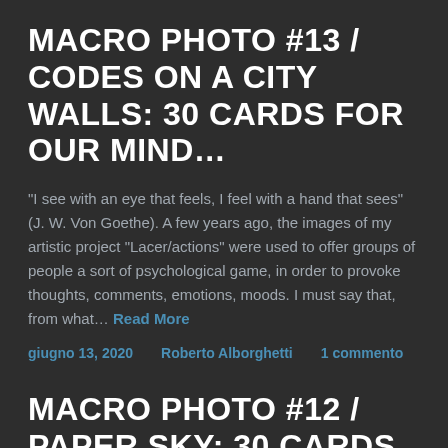MACRO PHOTO #13 / CODES ON A CITY WALLS: 30 CARDS FOR OUR MIND…
“I see with an eye that feels, I feel with a hand that sees” (J. W. Von Goethe). A few years ago, the images of my artistic project “Lacer/actions” were used to offer groups of people a sort of psychological game, in order to provoke thoughts, comments, emotions, moods. I must say that, from what… Read More
giugno 13, 2020    Roberto Alborghetti    1 commento
MACRO PHOTO #12 / PAPER SKY: 30 CARDS FOR THE CHROMATICA GAME
“I see with an eye that feels, I feel with a hand that sees” (J. W. Von Goethe). A few years ago, the images of my artistic project